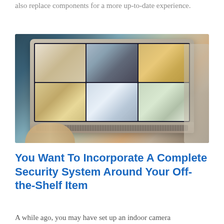also replace components for a more up-to-date experience.
[Figure (photo): A laptop computer displaying a grid of six security camera feeds showing various indoor rooms, placed on a desk with a hand on the keyboard, a coffee cup and smartphone visible in the background.]
You Want To Incorporate A Complete Security System Around Your Off-the-Shelf Item
A while ago, you may have set up an indoor camera